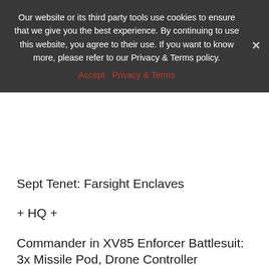6x MV7 Marker Drone
++ Vanguard Detachment ++
Our website or its third party tools use cookies to ensure that we give you the best experience. By continuing to use this website, you agree to their use. If you want to know more, please refer to our Privacy & Terms policy.
Accept   Privacy & Terms
Sept Tenet: Farsight Enclaves
+ HQ +
Commander in XV85 Enforcer Battlesuit: 3x Missile Pod, Drone Controller
+ Elites +
Firesight Marksman
Firesight Marksman